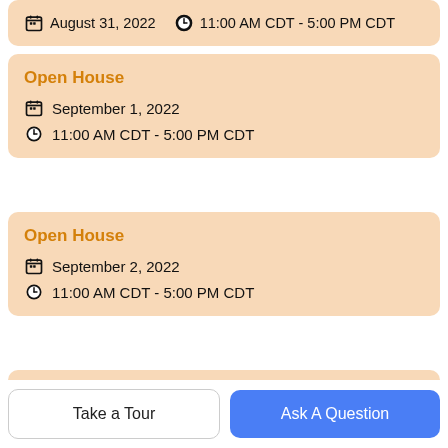August 31, 2022   11:00 AM CDT - 5:00 PM CDT
Open House
September 1, 2022
11:00 AM CDT - 5:00 PM CDT
Open House
September 2, 2022
11:00 AM CDT - 5:00 PM CDT
Open House
September 3, 2022
Take a Tour
Ask A Question